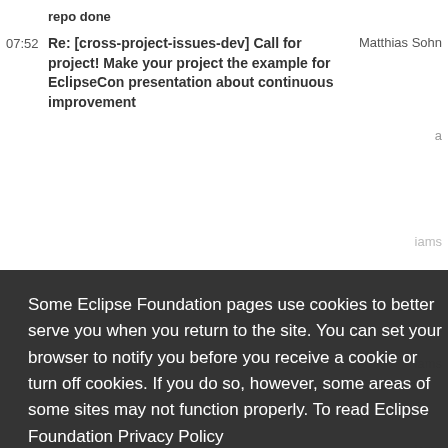repo done
07:52 Re: [cross-project-issues-dev] Call for project! Make your project the example for EclipseCon presentation about continuous improvement   Matthias Sohn
Background email list rows (partially obscured by overlay)
Some Eclipse Foundation pages use cookies to better serve you when you return to the site. You can set your browser to notify you before you receive a cookie or turn off cookies. If you do so, however, some areas of some sites may not function properly. To read Eclipse Foundation Privacy Policy click here.
Decline
Allow cookies